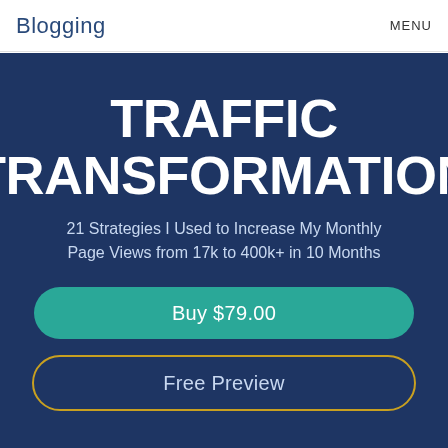Blogging   MENU
TRAFFIC TRANSFORMATION
21 Strategies I Used to Increase My Monthly Page Views from 17k to 400k+ in 10 Months
Buy $79.00
Free Preview